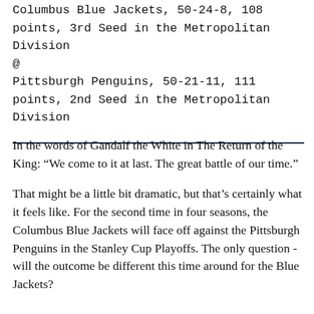Columbus Blue Jackets, 50-24-8, 108 points, 3rd Seed in the Metropolitan Division
@
Pittsburgh Penguins, 50-21-11, 111 points, 2nd Seed in the Metropolitan Division
In the words of Gandalf the White in The Return of the King: “We come to it at last. The great battle of our time.”
That might be a little bit dramatic, but that’s certainly what it feels like. For the second time in four seasons, the Columbus Blue Jackets will face off against the Pittsburgh Penguins in the Stanley Cup Playoffs. The only question - will the outcome be different this time around for the Blue Jackets?